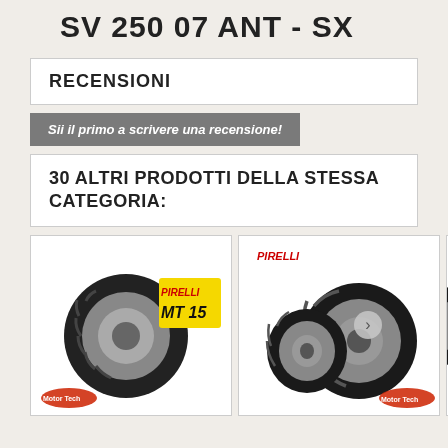SV 250 07 ANT - SX
RECENSIONI
Sii il primo a scrivere una recensione!
30 ALTRI PRODOTTI DELLA STESSA CATEGORIA:
[Figure (photo): Pirelli MT 15 motorcycle tire product image with Motor Tech logo]
[Figure (photo): Pirelli motorcycle tires pair product image with Motor Tech logo]
[Figure (photo): Partially visible third product card]